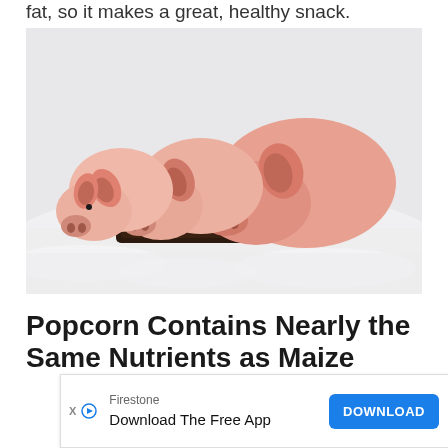fat, so it makes a great, healthy snack.
[Figure (photo): Three pigs eating from a dark trough placed in snow. Two smaller piglets on the left and a larger pig on the right, all pink, leaning over a dark rectangular feeder. White snow background.]
Popcorn Contains Nearly the Same Nutrients as Maize
Firestone
Download The Free App
DOWNLOAD